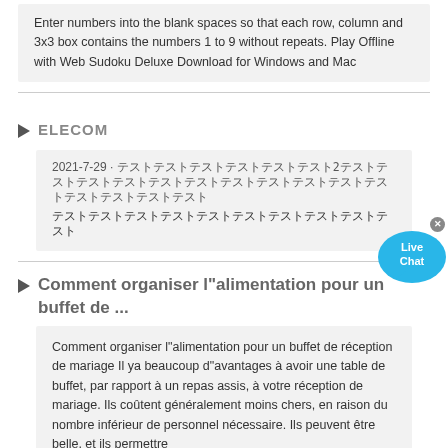Enter numbers into the blank spaces so that each row, column and 3x3 box contains the numbers 1 to 9 without repeats. Play Offline with Web Sudoku Deluxe Download for Windows and Mac
ELECOM
2021-7-29 · [Japanese text] 2 [Japanese text]
Comment organiser l"alimentation pour un buffet de ...
Comment organiser l"alimentation pour un buffet de réception de mariage Il ya beaucoup d"avantages à avoir une table de buffet, par rapport à un repas assis, à votre réception de mariage. Ils coûtent généralement moins chers, en raison du nombre inférieur de personnel nécessaire. Ils peuvent être belle, et ils permettre
Features Mechanical Data